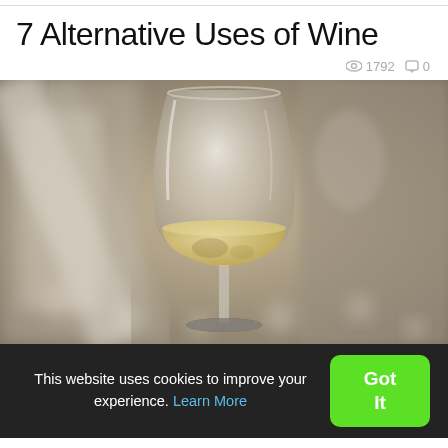7 Alternative Uses of Wine
👁 1792  💬 0
[Figure (photo): A close-up photograph of a wine glass filled with white wine, set against a blurred indoor background with bokeh lights. The glass reflects the surroundings.]
This website uses cookies to improve your experience. Learn More  [Got It button]